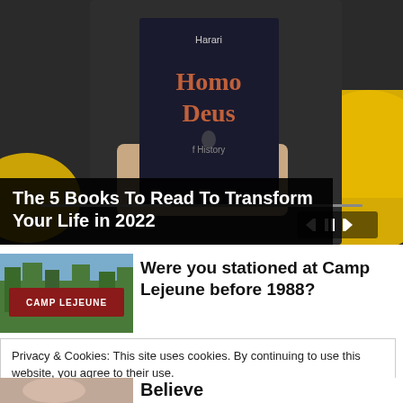[Figure (screenshot): Person holding 'Homo Deus' book by Harari in front of their face, with media player controls visible at bottom right. Yellow abstract shapes visible in background.]
The 5 Books To Read To Transform Your Life in 2022
[Figure (photo): Camp Lejeune sign with trees in background]
Were you stationed at Camp Lejeune before 1988?
Privacy & Cookies: This site uses cookies. By continuing to use this website, you agree to their use.
To find out more, including how to control cookies, see here: Cookie Policy
Close and accept
Believe